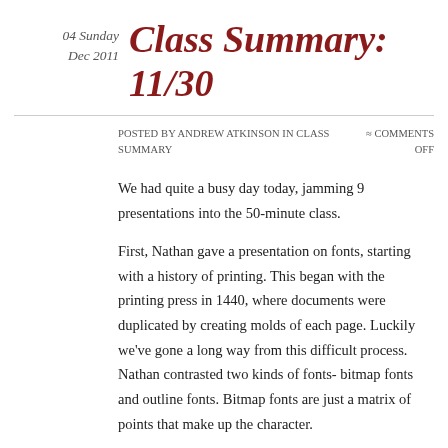04 Sunday Dec 2011
Class Summary: 11/30
Posted by Andrew Atkinson in Class Summary ≈ Comments Off
We had quite a busy day today, jamming 9 presentations into the 50-minute class.
First, Nathan gave a presentation on fonts, starting with a history of printing. This began with the printing press in 1440, where documents were duplicated by creating molds of each page. Luckily we've gone a long way from this difficult process. Nathan contrasted two kinds of fonts- bitmap fonts and outline fonts. Bitmap fonts are just a matrix of points that make up the character.